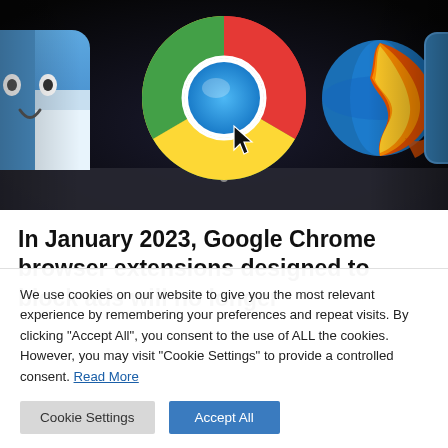[Figure (screenshot): Photograph of browser icons (Finder, Google Chrome, Firefox) on a dark dock background. Google Chrome icon is centered and prominent.]
In January 2023, Google Chrome browser extensions designed to block ads will no longer
We use cookies on our website to give you the most relevant experience by remembering your preferences and repeat visits. By clicking "Accept All", you consent to the use of ALL the cookies. However, you may visit "Cookie Settings" to provide a controlled consent. Read More